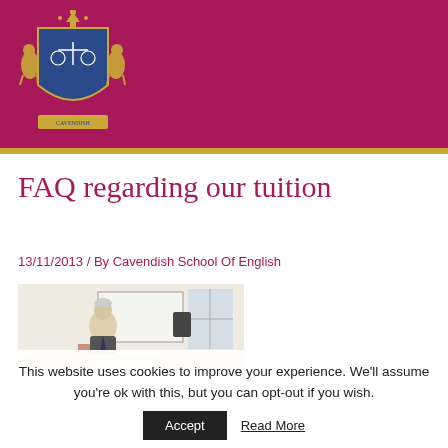[Figure (logo): Cavendish School of English gold and blue heraldic crest logo on dark crimson/maroon header background]
FAQ regarding our tuition
13/11/2013 / By Cavendish School Of English
[Figure (photo): Photograph of a man standing in a classroom near a whiteboard and speaker]
This website uses cookies to improve your experience. We'll assume you're ok with this, but you can opt-out if you wish.
Accept   Read More